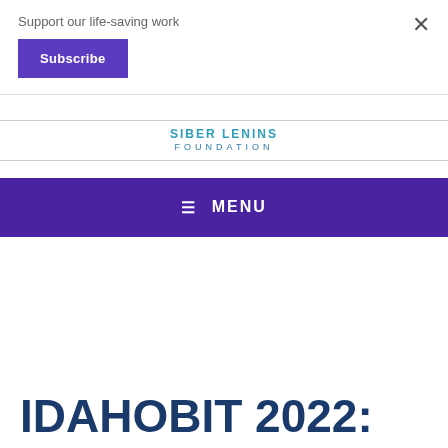Support our life-saving work
Subscribe
[Figure (logo): Foundation logo with stylized text and FOUNDATION subtitle in teal/blue]
≡ MENU
IDAHOBIT 2022: